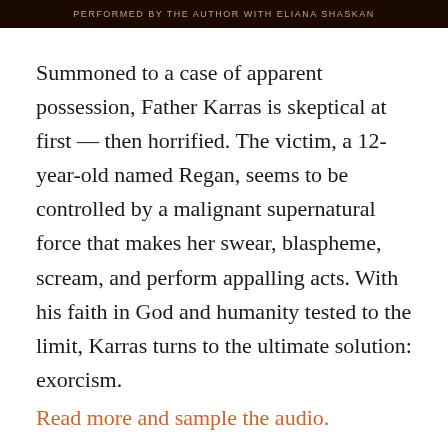PERFORMED BY THE AUTHOR WITH ELIANA SHASKAN
Summoned to a case of apparent possession, Father Karras is skeptical at first — then horrified. The victim, a 12-year-old named Regan, seems to be controlled by a malignant supernatural force that makes her swear, blaspheme, scream, and perform appalling acts. With his faith in God and humanity tested to the limit, Karras turns to the ultimate solution: exorcism.
Read more and sample the audio.